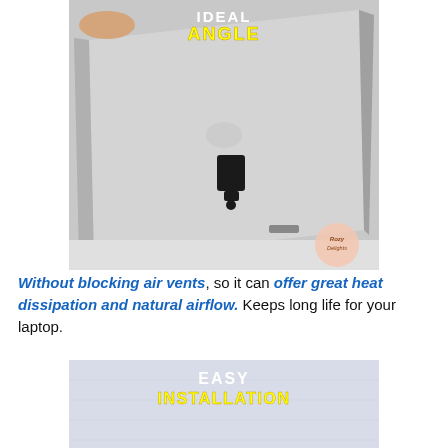[Figure (photo): Photo of the underside of a laptop tilted at an angle on a white desk surface, showing a small black stand/riser attached to it. Text overlay at top reads 'IDEAL ANGLE' with 'IDEAL' in white and 'ANGLE' in yellow. A small circular logo watermark is visible in the bottom-right corner of the image.]
Without blocking air vents, so it can offer great heat dissipation and natural airflow. Keeps long life for your laptop.
[Figure (photo): Partially shown photo with a light gray/blue background. Text overlay at top reads 'EASY INSTALLATION' with 'EASY' in white and 'INSTALLATION' in yellow.]